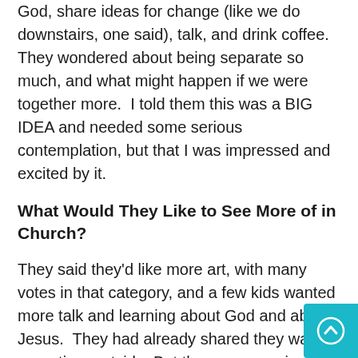God, share ideas for change (like we do downstairs, one said), talk, and drink coffee. They wondered about being separate so much, and what might happen if we were together more.  I told them this was a BIG IDEA and needed some serious contemplation, but that I was impressed and excited by it.
What Would They Like to See More of in Church?
They said they'd like more art, with many votes in that category, and a few kids wanted more talk and learning about God and about Jesus.  They had already shared they wanted more time outside. But the runaway winner in this category was STORIES.  Every child in the room shared or voted for more stories.  They like stories told to them, they said, by a storyteller.